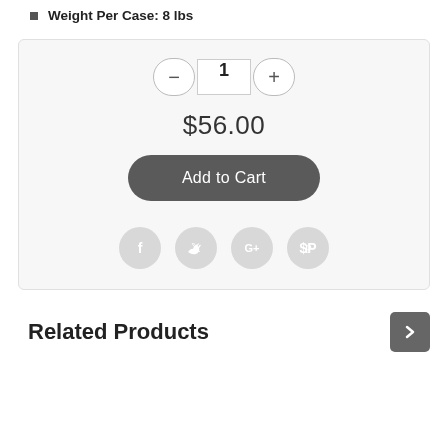Weight Per Case: 8 lbs
[Figure (screenshot): E-commerce add to cart widget with quantity selector showing 1, price $56.00, Add to Cart button, and social sharing icons (Facebook, Twitter, Google+, Pinterest)]
Related Products